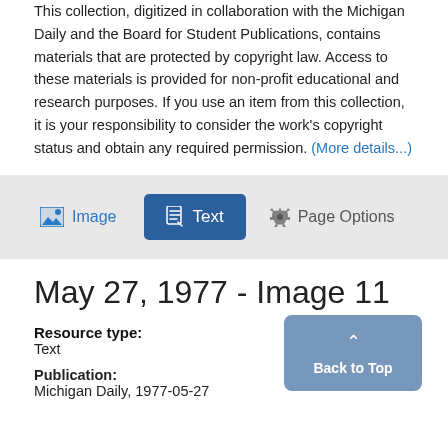This collection, digitized in collaboration with the Michigan Daily and the Board for Student Publications, contains materials that are protected by copyright law. Access to these materials is provided for non-profit educational and research purposes. If you use an item from this collection, it is your responsibility to consider the work’s copyright status and obtain any required permission. (More details...)
[Figure (screenshot): Tab bar with Image, Text (active), and Page Options buttons on a grey background]
May 27, 1977 - Image 11
Resource type:
Text
Publication:
Michigan Daily, 1977-05-27